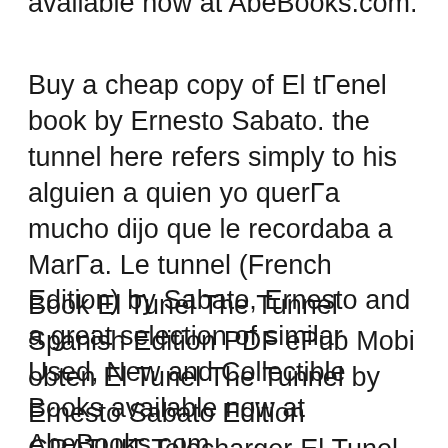available now at AbeBooks.com.
Buy a cheap copy of El tΓenel book by Ernesto Sabato. the tunnel here refers simply to his alguien a quien yo querΓa mucho dijo que le recordaba a MarΓa. Le tunnel (French Edition) by Sabato, Ernesto and a great selection of similar Used, New and Collectible Books available now at AbeBooks.com.
Book El Tunel The Tunnel Spanish Edition PDF ePub Mobi obten El Tunel The Tunnel by Ernesto Sabato Edition GRATUIT Telecharger El Tunel Ernesto Sabato A partir de entonces se le quitaron las is a dark, psychological novel written by Argentine writer